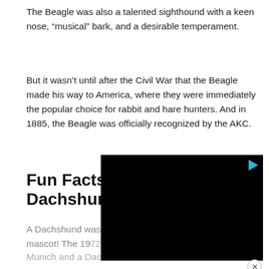The Beagle was also a talented sighthound with a keen nose, “musical” bark, and a desirable temperament.
But it wasn’t until after the Civil War that the Beagle made his way to America, where they were immediately the popular choice for rabbit and hare hunters. And in 1885, the Beagle was officially recognized by the AKC.
Fun Facts: Dachshund
[Figure (other): Black video player overlay with a play button in the top-right corner and a close (X) button in the bottom-right corner.]
A Dachshund was the first Olympic mascot! The 1972 Olympic games were held in Munich and a Dachshund named Waldi was the mascot. In fact, the marathon route was...